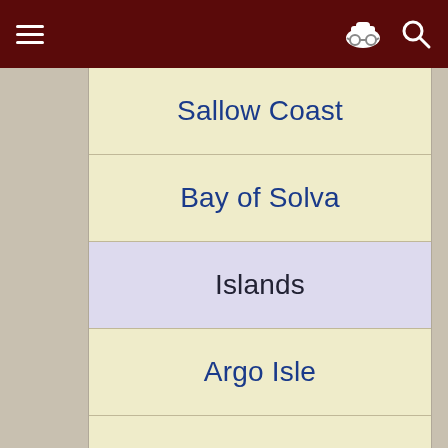Navigation header with hamburger menu, spy icon, and search icon
Sallow Coast
Bay of Solva
Islands
Argo Isle
Bog Rock
Deepmar
Dunrock
Keelwrack Island
Shardstone
Thurvan